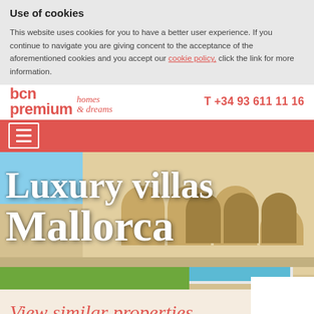Use of cookies
This website uses cookies for you to have a better user experience. If you continue to navigate you are giving concent to the acceptance of the aforementioned cookies and you accept our cookie policy, click the link for more information.
[Figure (logo): BCN Premium homes & dreams logo with phone number T +34 93 611 11 16]
[Figure (other): Red navigation bar with hamburger menu icon]
[Figure (photo): Luxury villa with arched architecture, pool, and green lawn - hero image for Luxury villas Mallorca]
Luxury villas Mallorca
View similar properties